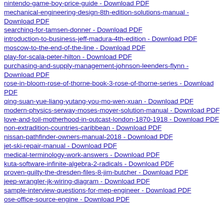nintendo-game-boy-price-guide - Download PDF
mechanical-engineering-design-8th-edition-solutions-manual - Download PDF
searching-for-tamsen-donner - Download PDF
introduction-to-business-jeff-madura-4th-edition - Download PDF
moscow-to-the-end-of-the-line - Download PDF
play-for-scala-peter-hilton - Download PDF
purchasing-and-supply-management-johnson-leenders-flynn - Download PDF
rose-in-bloom-rose-of-thorne-book-3-rose-of-thorne-series - Download PDF
qing-suan-yue-liang-yutang-you-mo-wen-xuan - Download PDF
modern-physics-serway-moses-moyer-solution-manual - Download PDF
love-and-toil-motherhood-in-outcast-london-1870-1918 - Download PDF
non-extradition-countries-caribbean - Download PDF
nissan-pathfinder-owners-manual-2018 - Download PDF
jet-ski-repair-manual - Download PDF
medical-terminology-work-answers - Download PDF
kuta-software-infinite-algebra-2-radicals - Download PDF
proven-guilty-the-dresden-files-8-jim-butcher - Download PDF
jeep-wrangler-jk-wiring-diagram - Download PDF
sample-interview-questions-for-mep-engineer - Download PDF
ose-office-source-engine - Download PDF